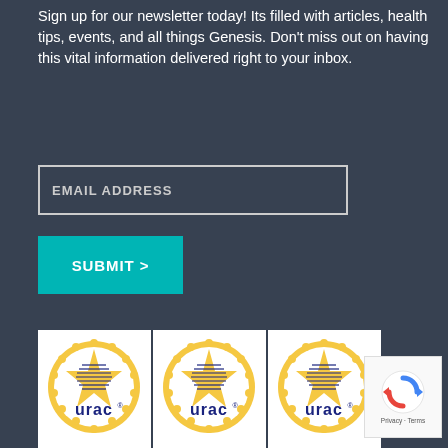Sign up for our newsletter today! Its filled with articles, health tips, events, and all things Genesis. Don't miss out on having this vital information delivered right to your inbox.
[Figure (other): Email address input field with border]
[Figure (other): Teal submit button with arrow]
[Figure (other): Three URAC accreditation badges side by side]
[Figure (other): reCAPTCHA widget with Privacy and Terms links]